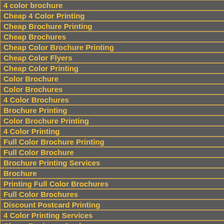4 color brochure
Cheap 4 Color Printing
Cheap Brochure Printing
Cheap Brochures
Cheap Color Brochure Printing
Cheap Color Flyers
Cheap Color Printing
Color Brochure
Color Brochures
4 Color Brochures
Brochure Printing
Color Brochure Printing
4 Color Printing
Full Color Brochure Printing
Full Color Brochure
Brochure Printing Services
Brochure
Printing Full Color Brochures
Full Color Brochures
Discount Postcard Printing
4 Color Printing Services
Cheap Business Cards
Online Printing Services
Discount Printing
Brochure Printing Company
0 1 2 3 4 5 6 7 8 9
H and J
H&J
Hair Space
Hairline
Hairline (Rule)
Hairline Register
Hairline Rule
Hairline...1
Hairline...2
Hairlines
Halation
Half Title
Half up
Half-Fold
Half-scale Black
Half-Serif Terminal
Halftone
Halftone Mottle
Halftone Paper
Halftone screen
Halftone Step Scale
Halftone Tint
Halftone...1
Halftone...2
Halo Effect
Handmade
Hang Tag